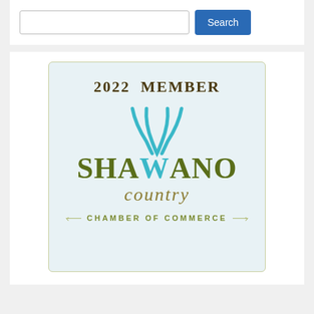[Figure (other): Search bar with text input field and blue Search button]
[Figure (logo): 2022 Member badge for Shawano Country Chamber of Commerce. Features '2022 MEMBER' text at top, large stylized 'SHAWANO' text with a teal decorative W, 'country' in italic olive text, decorative line divider with arrows, and 'CHAMBER OF COMMERCE' text at bottom. Badge has light blue background with olive/tan border.]